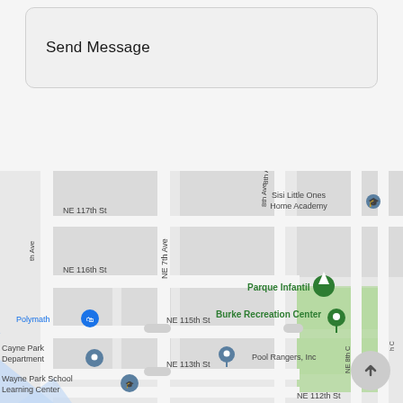Send Message
[Figure (map): Google Maps screenshot showing a street map of a neighborhood with NE 112th St to NE 117th St visible, with location pins for: Polymath, Parque Infantil, Burke Recreation Center, Pool Rangers Inc, Sisi Little Ones Home Academy, Cayne Park Department, Wayne Park School Learning Center. Streets include NE 7th Ave, NE 8th Ct, NE 9th Ave. Green park area for Burke Recreation Center is visible.]